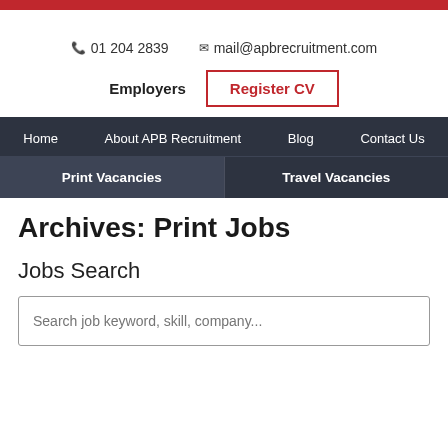APB Recruitment — red top bar
📞 01 204 2839    ✉ mail@apbrecruitment.com
Employers    Register CV
Home   About APB Recruitment   Blog   Contact Us
Print Vacancies   Travel Vacancies
Archives: Print Jobs
Jobs Search
Search job keyword, skill, company...